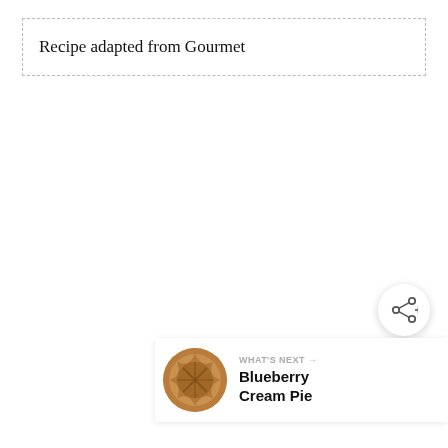Recipe adapted from Gourmet
[Figure (other): Share button (circular white button with share/connect icon)]
[Figure (other): WHAT'S NEXT navigation card showing a circular thumbnail of a Blueberry Cream Pie with text 'WHAT'S NEXT → Blueberry Cream Pie']